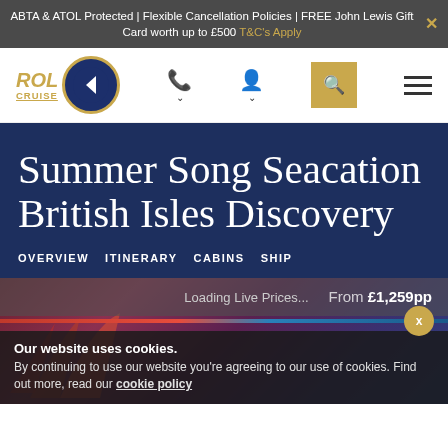ABTA & ATOL Protected | Flexible Cancellation Policies | FREE John Lewis Gift Card worth up to £500 T&C's Apply
[Figure (logo): ROL Cruise logo with circular navy and gold emblem]
Summer Song Seacation British Isles Discovery
OVERVIEW  ITINERARY  CABINS  SHIP
Loading Live Prices...  From £1,259pp
Our website uses cookies. By continuing to use our website you're agreeing to our use of cookies. Find out more, read our cookie policy